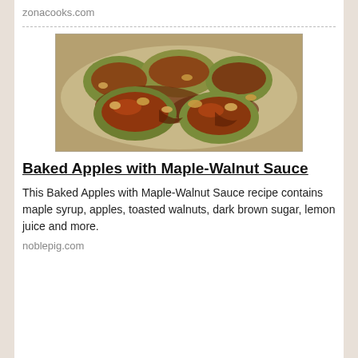zonacooks.com
[Figure (photo): Baked apples halved and topped with maple-walnut sauce in a baking dish, showing caramelized brown sugar glaze and walnut pieces on green apple halves]
Baked Apples with Maple-Walnut Sauce
This Baked Apples with Maple-Walnut Sauce recipe contains maple syrup, apples, toasted walnuts, dark brown sugar, lemon juice and more.
noblepig.com